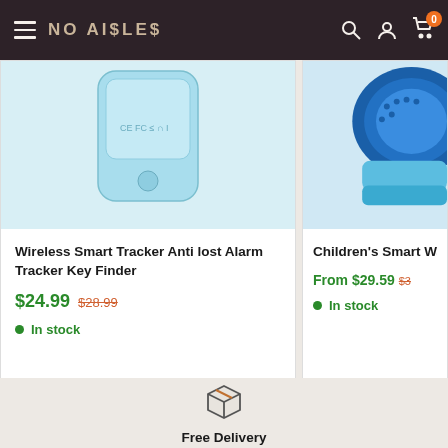NO AISLES
[Figure (photo): Light blue wireless smart tracker device, partially cropped at top]
Wireless Smart Tracker Anti lost Alarm Tracker Key Finder
$24.99  $28.99  In stock
[Figure (photo): Children's smart watch in blue color, partially cropped at top right]
Children's Smart Wa... From $29.59  $3...  In stock
[Figure (illustration): Package/box delivery icon]
Free Delivery